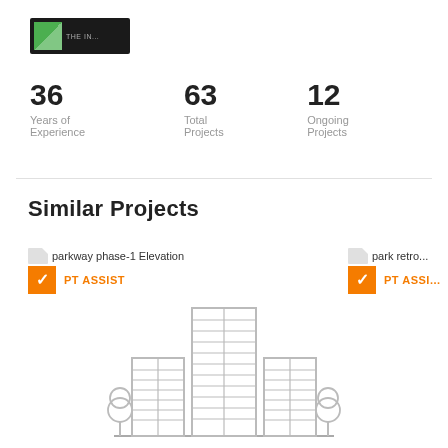[Figure (logo): Small company logo thumbnail with dark background and green element]
36 Years of Experience
63 Total Projects
12 Ongoing Projects
Similar Projects
parkway phase-1 Elevation
PT ASSIST
park retro...
PT ASSI...
[Figure (illustration): Building/skyscraper illustration in light gray outline style with trees on either side]